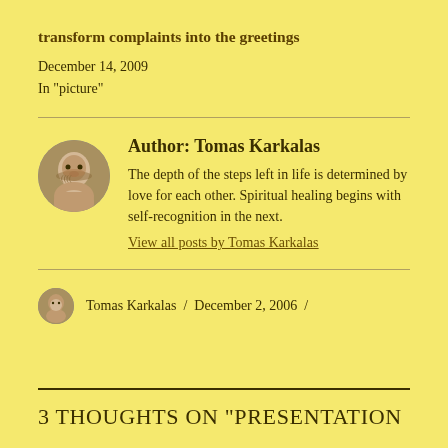transform complaints into the greetings
December 14, 2009
In "picture"
Author: Tomas Karkalas
The depth of the steps left in life is determined by love for each other. Spiritual healing begins with self-recognition in the next.
View all posts by Tomas Karkalas
Tomas Karkalas / December 2, 2006 /
3 THOUGHTS ON "PRESENTATION